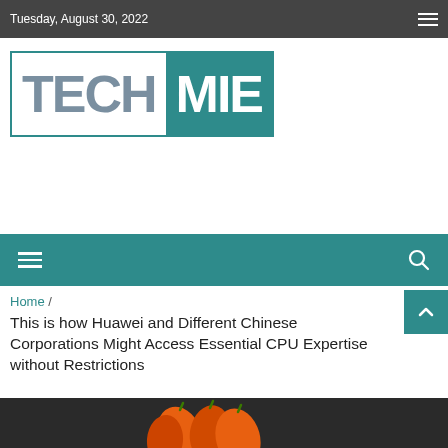Tuesday, August 30, 2022
[Figure (logo): TECHMIE logo with TECH in gray and MIE in white on teal background, inside a teal border box]
Home / This is how Huawei and Different Chinese Corporations Might Access Essential CPU Expertise without Restrictions
This is how Huawei and Different Chinese Corporations Might Access Essential CPU Expertise without Restrictions
[Figure (photo): Partial photo showing orange peppers on dark background]